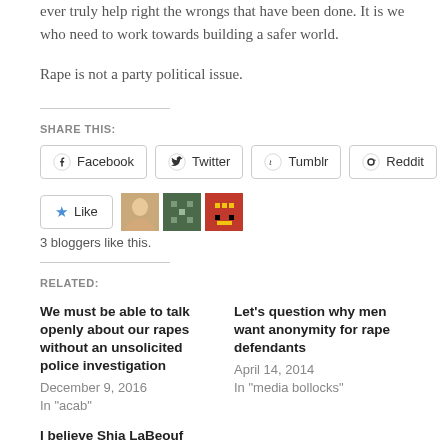ever truly help right the wrongs that have been done. It is we who need to work towards building a safer world.
Rape is not a party political issue.
SHARE THIS:
Facebook  Twitter  Tumblr  Reddit
3 bloggers like this.
RELATED:
We must be able to talk openly about our rapes without an unsolicited police investigation
December 9, 2016
In "acab"
Let's question why men want anonymity for rape defendants
April 14, 2014
In "media bollocks"
I believe Shia LaBeouf (and Piers Morgan is a rape